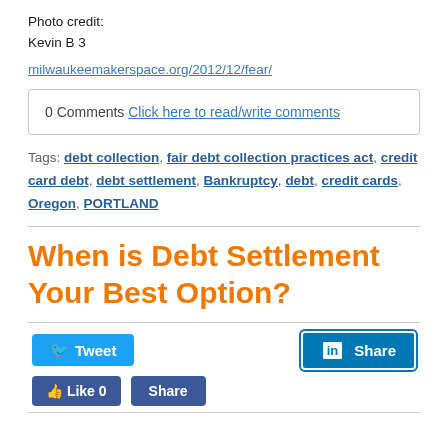Photo credit:
Kevin B 3
milwaukeemakerspace.org/2012/12/fear/
0 Comments Click here to read/write comments
Tags: debt collection, fair debt collection practices act, credit card debt, debt settlement, Bankruptcy, debt, credit cards, Oregon, PORTLAND
When is Debt Settlement Your Best Option?
[Figure (other): Tweet button]
[Figure (other): LinkedIn Share button]
[Figure (other): Facebook Like 0 button]
[Figure (other): Facebook Share button]